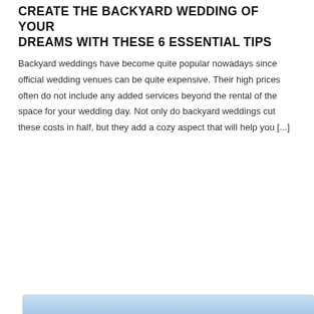CREATE THE BACKYARD WEDDING OF YOUR DREAMS WITH THESE 6 ESSENTIAL TIPS
Backyard weddings have become quite popular nowadays since official wedding venues can be quite expensive. Their high prices often do not include any added services beyond the rental of the space for your wedding day. Not only do backyard weddings cut these costs in half, but they add a cozy aspect that will help you [...]
READ MORE
[Figure (photo): Partial view of a photo at the bottom of the page, appears to be an outdoor/sky scene with blue tones]